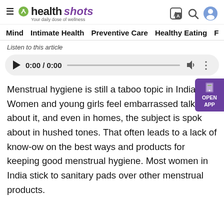healthshots — Your daily dose of wellness
Mind   Intimate Health   Preventive Care   Healthy Eating   F
Listen to this article
[Figure (other): Audio player showing 0:00 / 0:00 with play button, progress bar, volume and more icons]
Menstrual hygiene is still a taboo topic in India. Women and young girls feel embarrassed talking about it, and even in homes, the subject is spoken about in hushed tones. That often leads to a lack of know-ow on the best ways and products for keeping good menstrual hygiene. Most women in India stick to sanitary pads over other menstrual products.